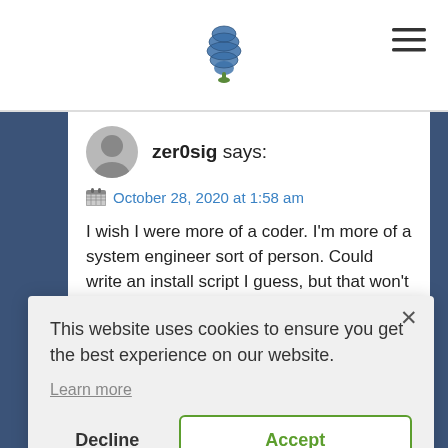[pine cone logo] [hamburger menu icon]
zer0sig says:
October 28, 2020 at 1:58 am
I wish I were more of a coder. I'm more of a system engineer sort of person. Could write an install script I guess, but that won't really deblob anything. Still, looking forward to seeing some
This website uses cookies to ensure you get the best experience on our website.
Learn more
Decline
Accept
Should we just be contributing to the upstream